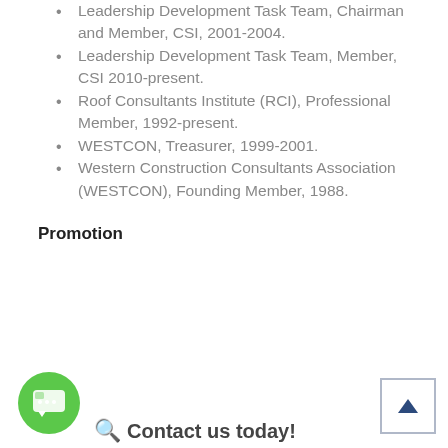Leadership Development Task Team, Chairman and Member, CSI, 2001-2004.
Leadership Development Task Team, Member, CSI 2010-present.
Roof Consultants Institute (RCI), Professional Member, 1992-present.
WESTCON, Treasurer, 1999-2001.
Western Construction Consultants Association (WESTCON), Founding Member, 1988.
Promotion
Contact us today!